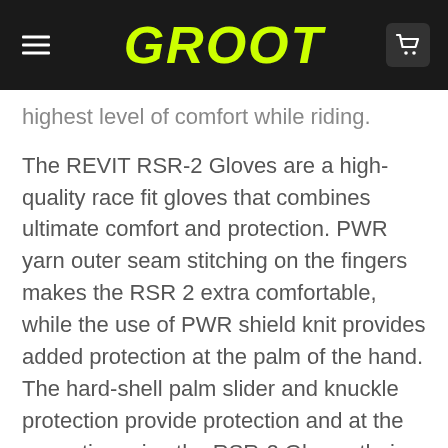GROOT
highest level of comfort while riding.
The REVIT RSR-2 Gloves are a high-quality race fit gloves that combines ultimate comfort and protection. PWR yarn outer seam stitching on the fingers makes the RSR 2 extra comfortable, while the use of PWR shield knit provides added protection at the palm of the hand. The hard-shell palm slider and knuckle protection provide protection and at the same time give the RSR-2 Gloves their sporty look. This combination of high